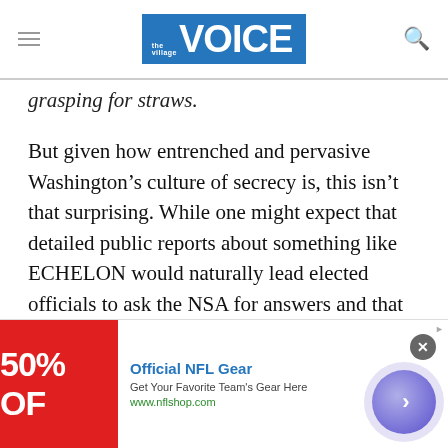the Village VOICE
grasping for straws.
But given how entrenched and pervasive Washington’s culture of secrecy is, this isn’t that surprising. While one might expect that detailed public reports about something like ECHELON would naturally lead elected officials to ask the NSA for answers and that the NSA would comply, Baker is succinct: “If they do, we ain’t there yet.”
[Figure (other): Advertisement banner: Official NFL Gear. Get Your Favorite Team's Gear Here. www.nflshop.com. Red background image with '50% OF' text. Blue circular arrow button on right.]